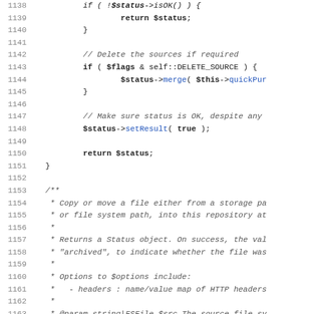Source code listing, lines 1138-1170, PHP code showing file copy/move function with status handling and JSDoc comments.